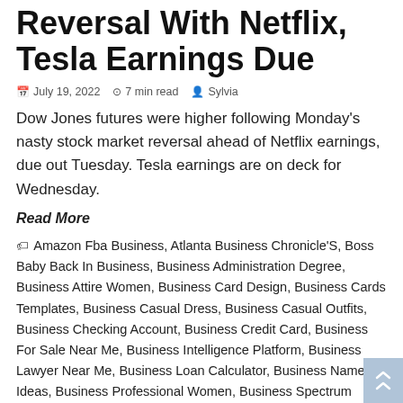Reversal With Netflix, Tesla Earnings Due
July 19, 2022  7 min read  Sylvia
Dow Jones futures were higher following Monday's nasty stock market reversal ahead of Netflix earnings, due out Tuesday. Tesla earnings are on deck for Wednesday.
Read More
Amazon Fba Business, Atlanta Business Chronicle'S, Boss Baby Back In Business, Business Administration Degree, Business Attire Women, Business Card Design, Business Cards Templates, Business Casual Dress, Business Casual Outfits, Business Checking Account, Business Credit Card, Business For Sale Near Me, Business Intelligence Platform, Business Lawyer Near Me, Business Loan Calculator, Business Name Ideas, Business Professional Women, Business Spectrum Login, California Business Entity Search, Capital One Spark Business, Carl Weber'S The Family Business, Charlotte